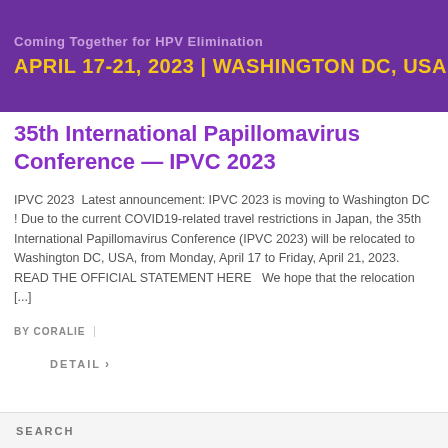[Figure (other): Purple banner with subtitle 'Coming Together for HPV Elimination' and date 'APRIL 17-21, 2023 | WASHINGTON DC, USA' in gold text]
35th International Papillomavirus Conference — IPVC 2023
IPVC 2023  Latest announcement: IPVC 2023 is moving to Washington DC ! Due to the current COVID19-related travel restrictions in Japan, the 35th International Papillomavirus Conference (IPVC 2023) will be relocated to Washington DC, USA, from Monday, April 17 to Friday, April 21, 2023. READ THE OFFICIAL STATEMENT HERE  We hope that the relocation [...]
BY CORALIE
DETAIL >
SEARCH